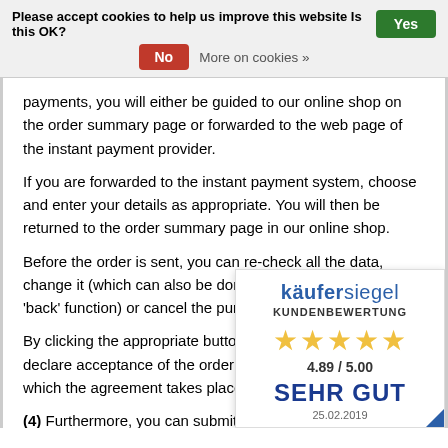Please accept cookies to help us improve this website Is this OK?  Yes  No  More on cookies »
payments, you will either be guided to our online shop on the order summary page or forwarded to the web page of the instant payment provider.
If you are forwarded to the instant payment system, choose and enter your details as appropriate. You will then be returned to the order summary page in our online shop.
Before the order is sent, you can re-check all the data, change it (which can also be done via the internet browser's 'back' function) or cancel the purchase transaction.
By clicking the appropriate button to submit the order, you declare acceptance of the order in a legally binding way by which the agreement takes place.
(4) Furthermore, you can submit a binding offer by telephone, email, fax or post.
The offer is accepted (and the contrac...
after ordering by telephone immediat...
[Figure (other): Käufersiegel KUNDENBEWERTUNG badge with 5 gold stars, rating 4.89 / 5.00, SEHR GUT, date 25.02.2019]